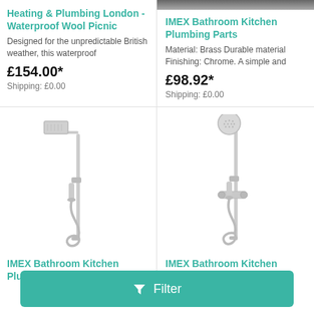Heating & Plumbing London - Waterproof Wool Picnic
Designed for the unpredictable British weather, this waterproof
£154.00*
Shipping: £0.00
[Figure (photo): Partial photo visible at top of card]
IMEX Bathroom Kitchen Plumbing Parts
Material: Brass Durable material Finishing: Chrome. A simple and
£98.92*
Shipping: £0.00
[Figure (photo): Chrome shower system with overhead rain head, sliding rail and hand shower hose]
IMEX Bathroom Kitchen Plumbing Parts
[Figure (photo): Chrome shower system with round overhead rain head, thermostatic bar valve and hand shower]
IMEX Bathroom Kitchen Plumbing Parts
Filter